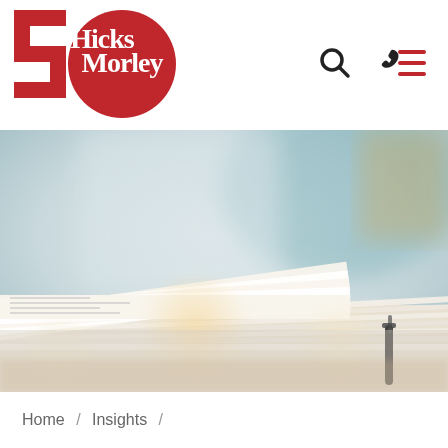[Figure (logo): Hicks Morley 50th anniversary logo — red circle with '50' and 'Hicks Morley' text in white, with a red rectangular element on the left]
[Figure (other): Navigation icons: search (magnifying glass), phone, and hamburger menu in dark/red colors on white background]
[Figure (photo): Hero photograph showing an open book or document with pages fanned, slightly blurred, on a light background with bokeh lighting effects]
Home / Insights /